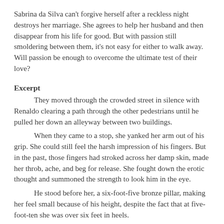Sabrina da Silva can't forgive herself after a reckless night destroys her marriage. She agrees to help her husband and then disappear from his life for good. But with passion still smoldering between them, it's not easy for either to walk away. Will passion be enough to overcome the ultimate test of their love?
Excerpt
They moved through the crowded street in silence with Renaldo clearing a path through the other pedestrians until he pulled her down an alleyway between two buildings.
When they came to a stop, she yanked her arm out of his grip. She could still feel the harsh impression of his fingers. But in the past, those fingers had stroked across her damp skin, made her throb, ache, and beg for release. She fought down the erotic thought and summoned the strength to look him in the eye.
He stood before her, a six-foot-five bronze pillar, making her feel small because of his height, despite the fact that at five-foot-ten she was over six feet in heels.
He stared down at her, struggling to keep his anger in